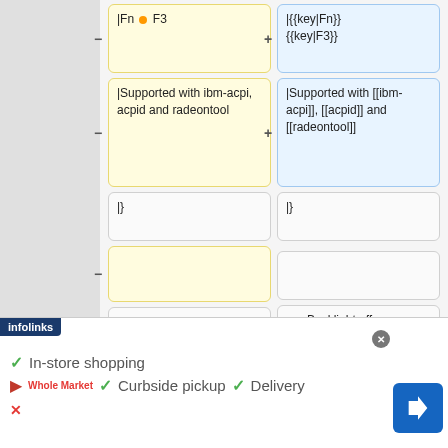|Fn + F3
|{{key|Fn}} {{key|F3}}
|Supported with ibm-acpi, acpid and radeontool
|Supported with [[ibm-acpi]], [[acpid]] and [[radeontool]]
|}
|}
===Backlight off===
===Backlight off===
I turned this into something more
I turned this into something more
infolinks
✓ In-store shopping
✓ Curbside pickup ✓ Delivery